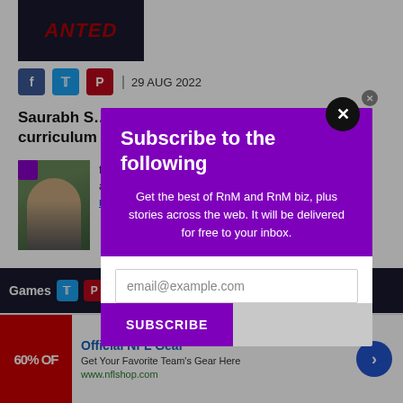[Figure (screenshot): Partial article page with social share icons, date, article title excerpt, author photo, and background content being overlaid by a subscription modal]
| 29 AUG 2022
Saurabh S... goals, curriculum...
founder of ...a's
read more
[Figure (screenshot): Modal popup with purple background showing subscription form. Title: Subscribe to the following. Body: Get the best of RnM and RnM biz, plus stories across the web. It will be delivered for free to your inbox. Email input field and SUBSCRIBE button.]
Subscribe to the following
Get the best of RnM and RnM biz, plus stories across the web. It will be delivered for free to your inbox.
email@example.com
SUBSCRIBE
Official NFL Gear
Get Your Favorite Team's Gear Here
www.nflshop.com